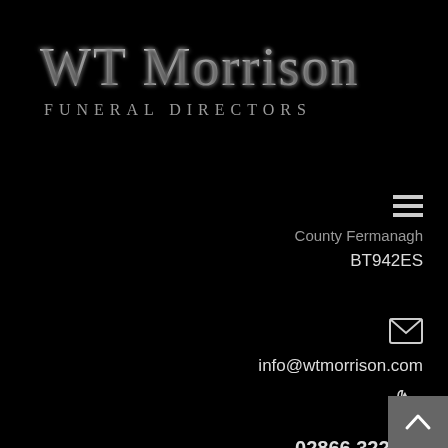WT Morrison
FUNERAL DIRECTORS
County Fermanagh
BT942ES
info@wtmorrison.com
02866 322071
[Figure (other): Scroll to top button (arrow up icon) in grey box at bottom right corner]